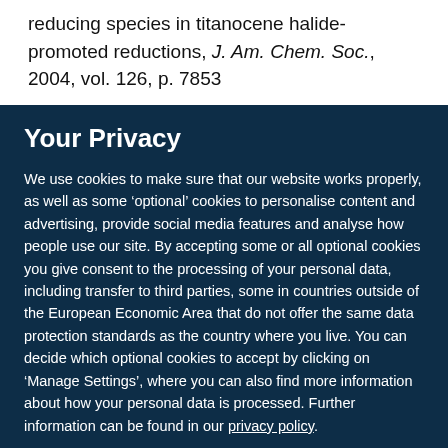reducing species in titanocene halide-promoted reductions, J. Am. Chem. Soc., 2004, vol. 126, p. 7853
Your Privacy
We use cookies to make sure that our website works properly, as well as some ‘optional’ cookies to personalise content and advertising, provide social media features and analyse how people use our site. By accepting some or all optional cookies you give consent to the processing of your personal data, including transfer to third parties, some in countries outside of the European Economic Area that do not offer the same data protection standards as the country where you live. You can decide which optional cookies to accept by clicking on ‘Manage Settings’, where you can also find more information about how your personal data is processed. Further information can be found in our privacy policy.
Accept all cookies
Manage preferences